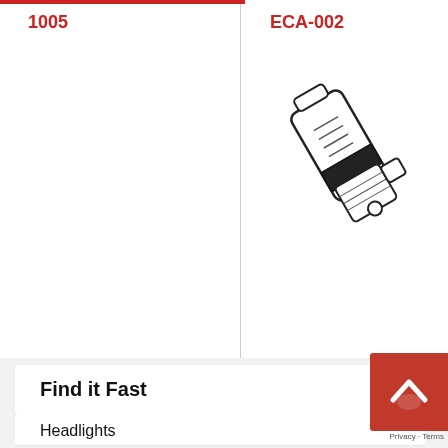1005
ECA-002
[Figure (illustration): Technical illustration of an automotive headlight bulb/lamp component, shown at an angle, with cylindrical glass envelope and base connector.]
Find it Fast
Headlights